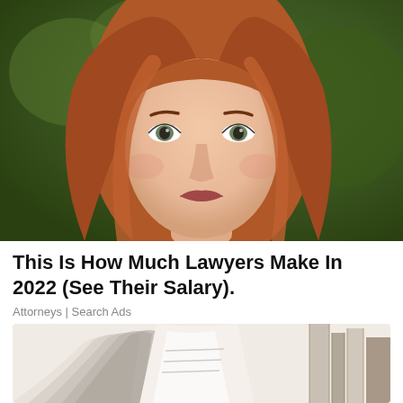[Figure (photo): Close-up portrait of a young woman with long auburn/red hair against a blurred green background, looking directly at camera with a serious expression.]
This Is How Much Lawyers Make In 2022 (See Their Salary).
Attorneys | Search Ads
[Figure (photo): Photo of open books or documents, fanned out on a light-colored surface, partially visible at bottom of page.]